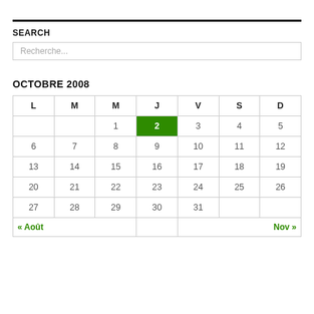SEARCH
Recherche...
OCTOBRE 2008
| L | M | M | J | V | S | D |
| --- | --- | --- | --- | --- | --- | --- |
|  |  | 1 | 2 | 3 | 4 | 5 |
| 6 | 7 | 8 | 9 | 10 | 11 | 12 |
| 13 | 14 | 15 | 16 | 17 | 18 | 19 |
| 20 | 21 | 22 | 23 | 24 | 25 | 26 |
| 27 | 28 | 29 | 30 | 31 |  |  |
| « Août |  |  |  |  |  | Nov » |